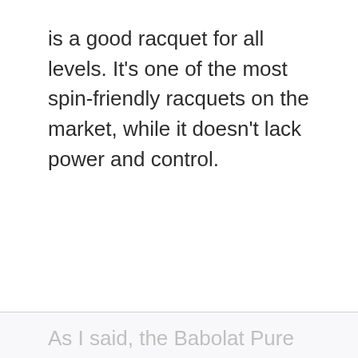is a good racquet for all levels. It's one of the most spin-friendly racquets on the market, while it doesn't lack power and control.
As I said, the Babolat Pure Aero is one of